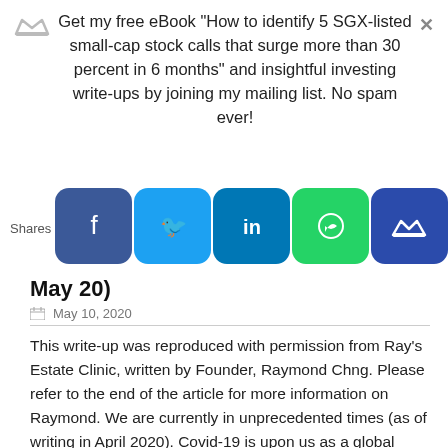Get my free eBook "How to identify 5 SGX-listed small-cap stock calls that surge more than 30 percent in 6 months" and insightful investing write-ups by joining my mailing list. No spam ever!
[Figure (other): Social sharing buttons bar: Facebook, Twitter, LinkedIn, WhatsApp, and a crown/email icon button. Left label reads 'Shares'.]
May 20)
May 10, 2020
This write-up was reproduced with permission from Ray's Estate Clinic, written by Founder, Raymond Chng. Please refer to the end of the article for more information on Raymond. We are currently in unprecedented times (as of writing in April 2020). Covid-19 is upon us as a global pandemic which will go down in history books as the gravest health crisis mankind ever faced in this century. Over the past few weeks, I had the fortune to converse and interview numerous Seniors (our Merdeka & Pioneer Generation) whom I knew for some time already. The wiser generation I interviewed range from [...]